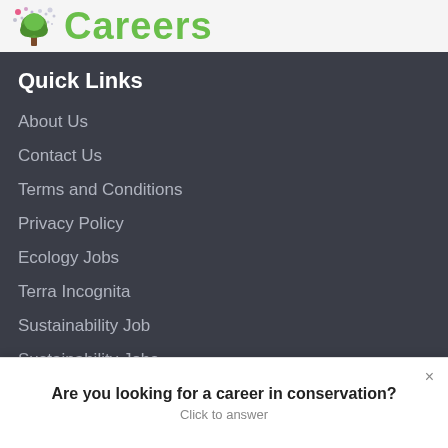[Figure (logo): Ecology/conservation careers website logo: a stylized tree with colorful dots and the word Careers in green]
Quick Links
About Us
Contact Us
Terms and Conditions
Privacy Policy
Ecology Jobs
Terra Incognita
Sustainability Job
Sustainability Jobs
Are you looking for a career in conservation?
Click to answer